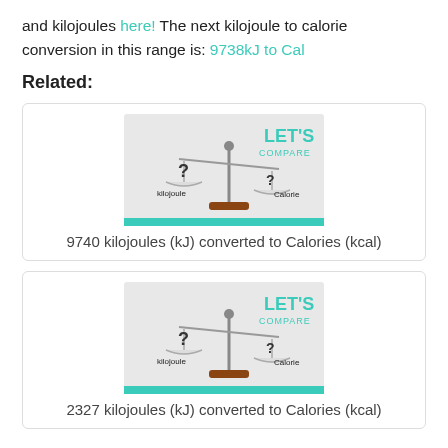and kilojoules here! The next kilojoule to calorie conversion in this range is: 9738kJ to Cal
Related:
[Figure (illustration): A balance scale comparing kilojoule and Calorie with question marks and LET'S COMPARE branding]
9740 kilojoules (kJ) converted to Calories (kcal)
[Figure (illustration): A balance scale comparing kilojoule and Calorie with question marks and LET'S COMPARE branding]
2327 kilojoules (kJ) converted to Calories (kcal)